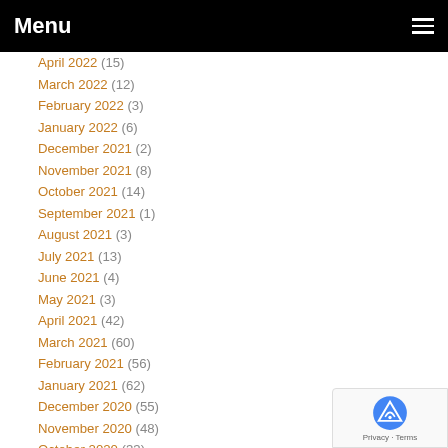Menu
April 2022 (15)
March 2022 (12)
February 2022 (3)
January 2022 (6)
December 2021 (2)
November 2021 (8)
October 2021 (14)
September 2021 (1)
August 2021 (3)
July 2021 (13)
June 2021 (4)
May 2021 (3)
April 2021 (42)
March 2021 (60)
February 2021 (56)
January 2021 (62)
December 2020 (55)
November 2020 (48)
October 2020 (33)